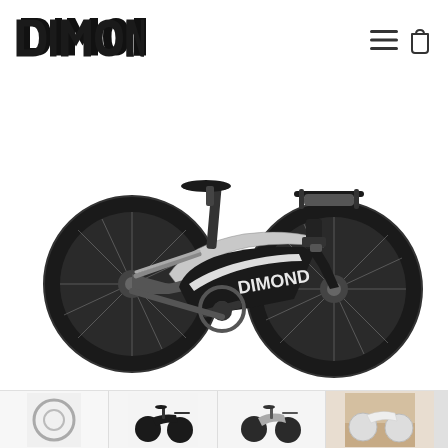[Figure (logo): DIMOND brand logo in bold angular font, black text on white background]
[Figure (illustration): Navigation icons: hamburger menu (three horizontal lines) and shopping bag/cart outline icon]
[Figure (photo): Dimond branded triathlon/time trial bicycle, black and white color scheme, deep dish wheels, aerodynamic carbon frame with DIMOND lettering, white background product photo]
[Figure (photo): Thumbnail 1: Close-up of a wheel or circular component, white background]
[Figure (photo): Thumbnail 2: Dimond TT bike front/top view showing handlebars and saddle, mostly white/grey color]
[Figure (photo): Thumbnail 3: Dimond TT bike side view, lighter colorway or different angle]
[Figure (photo): Thumbnail 4: Dimond bike leaning against wall, warm-toned photo, white/cream frame]